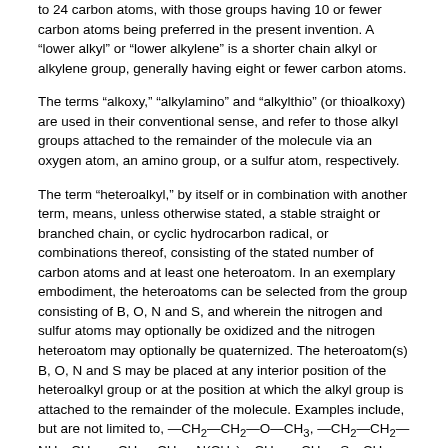to 24 carbon atoms, with those groups having 10 or fewer carbon atoms being preferred in the present invention. A “lower alkyl” or “lower alkylene” is a shorter chain alkyl or alkylene group, generally having eight or fewer carbon atoms.
The terms “alkoxy,” “alkylamino” and “alkylthio” (or thioalkoxy) are used in their conventional sense, and refer to those alkyl groups attached to the remainder of the molecule via an oxygen atom, an amino group, or a sulfur atom, respectively.
The term “heteroalkyl,” by itself or in combination with another term, means, unless otherwise stated, a stable straight or branched chain, or cyclic hydrocarbon radical, or combinations thereof, consisting of the stated number of carbon atoms and at least one heteroatom. In an exemplary embodiment, the heteroatoms can be selected from the group consisting of B, O, N and S, and wherein the nitrogen and sulfur atoms may optionally be oxidized and the nitrogen heteroatom may optionally be quaternized. The heteroatom(s) B, O, N and S may be placed at any interior position of the heteroalkyl group or at the position at which the alkyl group is attached to the remainder of the molecule. Examples include, but are not limited to, —CH2—CH2—O—CH3, —CH2—CH2—NH—CH3, —CH2—CH2—N(CH3)—CH3, —CH2—S—CH2—CH3, —CH2—CH2, —S(O)—CH3, —CH2—CH2—S(O)2—CH3, —CH=CH—O—CH3, —CH2—CH=N—OCH3, and —CH=CH—N(CH3)—CH3. Up to two heteroatoms may be consecutive, such as, for